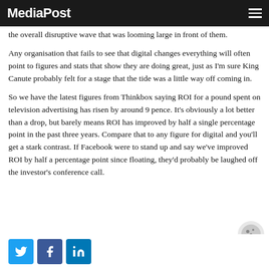MediaPost
the overall disruptive wave that was looming large in front of them.
Any organisation that fails to see that digital changes everything will often point to figures and stats that show they are doing great, just as I'm sure King Canute probably felt for a stage that the tide was a little way off coming in.
So we have the latest figures from Thinkbox saying ROI for a pound spent on television advertising has risen by around 9 pence. It's obviously a lot better than a drop, but barely means ROI has improved by half a single percentage point in the past three years. Compare that to any figure for digital and you'll get a stark contrast. If Facebook were to stand up and say we've improved ROI by half a percentage point since floating, they'd probably be laughed off the investor's conference call.